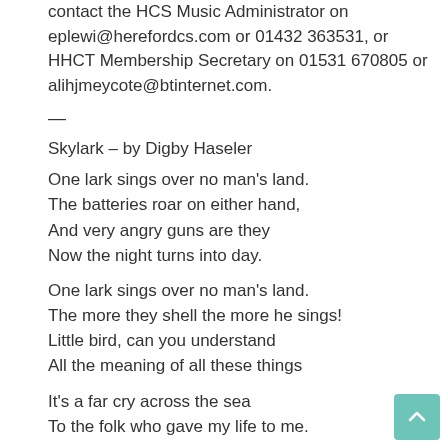contact the HCS Music Administrator on eplewi@herefordcs.com or 01432 363531, or HHCT Membership Secretary on 01531 670805 or alihjmeycote@btinternet.com.
—
Skylark – by Digby Haseler
One lark sings over no man's land.
The batteries roar on either hand,
And very angry guns are they
Now the night turns into day.
One lark sings over no man's land.
The more they shell the more he sings!
Little bird, can you understand
All the meaning of all these things
It's a far cry across the sea
To the folk who gave my life to me.